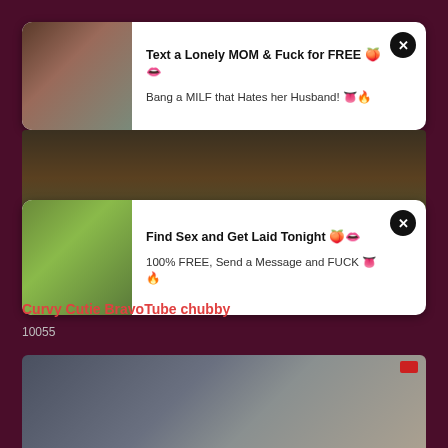[Figure (screenshot): Ad card 1: Text a Lonely MOM & Fuck for FREE - Bang a MILF that Hates her Husband!]
[Figure (screenshot): Ad card 2: Find Sex and Get Laid Tonight - 100% FREE, Send a Message and FUCK]
[Figure (photo): Video thumbnail showing colorful textile background with feet, duration 3:44]
Curvy Cutie BravoTube chubby
10055
[Figure (photo): Video thumbnail showing person on grey sofa with pillows]